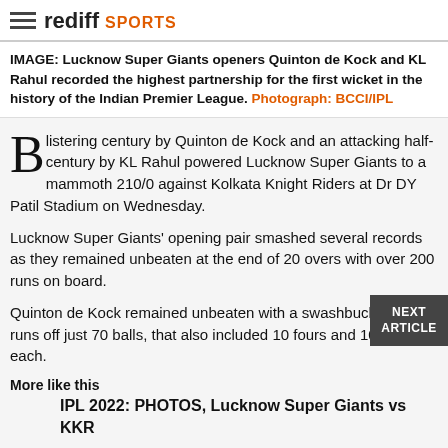rediff SPORTS
IMAGE: Lucknow Super Giants openers Quinton de Kock and KL Rahul recorded the highest partnership for the first wicket in the history of the Indian Premier League. Photograph: BCCI/IPL
Blistering century by Quinton de Kock and an attacking half-century by KL Rahul powered Lucknow Super Giants to a mammoth 210/0 against Kolkata Knight Riders at Dr DY Patil Stadium on Wednesday.
Lucknow Super Giants' opening pair smashed several records as they remained unbeaten at the end of 20 overs with over 200 runs on board.
Quinton de Kock remained unbeaten with a swashbuckling 140 runs off just 70 balls, that also included 10 fours and 10 sixes each.
More like this
IPL 2022: PHOTOS, Lucknow Super Giants vs KKR